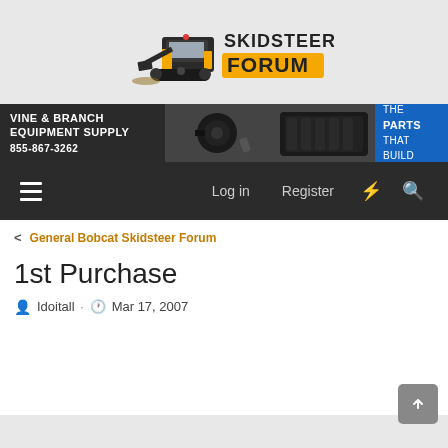[Figure (logo): Skidsteer Forum logo with illustrated black and yellow skid steer loader and bold text 'SKIDSTEER FORUM']
[Figure (illustration): Vine & Branch Equipment Supply banner ad. Left dark section: 'VINE & BRANCH EQUIPMENT SUPPLY 855-867-3262'. Middle: parts images (motor, rubber track). Right blue section: 'WE SUPPLY THE PARTS THAT BUILD AMERICA' with US flag emoji.]
Log in  Register
< General Bobcat Skidsteer Forum
1st Purchase
Idoitall · Mar 17, 2007